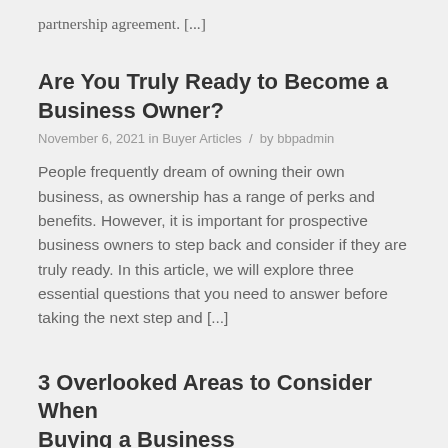partnership agreement. [...]
Are You Truly Ready to Become a Business Owner?
November 6, 2021 in Buyer Articles / by bbpadmin
People frequently dream of owning their own business, as ownership has a range of perks and benefits. However, it is important for prospective business owners to step back and consider if they are truly ready. In this article, we will explore three essential questions that you need to answer before taking the next step and [...]
3 Overlooked Areas to Consider When Buying a Business